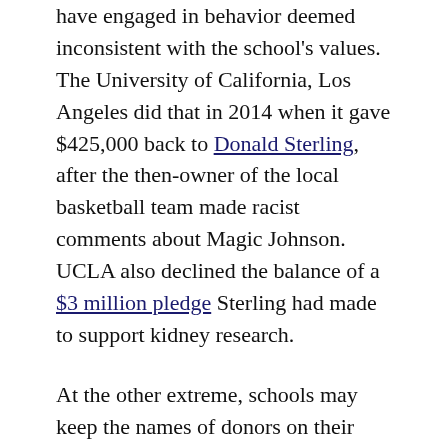have engaged in behavior deemed inconsistent with the school's values. The University of California, Los Angeles did that in 2014 when it gave $425,000 back to Donald Sterling, after the then-owner of the local basketball team made racist comments about Magic Johnson. UCLA also declined the balance of a $3 million pledge Sterling had made to support kidney research.
At the other extreme, schools may keep the names of donors on their walls or associated with department chairs – even if those benefactors become a source of embarrassment.
For example, the University of North Dakota uses a hockey arena on its campus named after Ralph Engelstad. The late casino magnate, who spent $110 million to build the venue, hosted "Hitler birthday